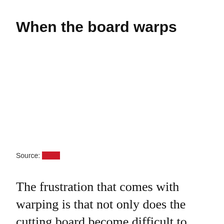When the board warps
Source: Imgur
The frustration that comes with warping is that not only does the cutting board become difficult to use, but it can also be